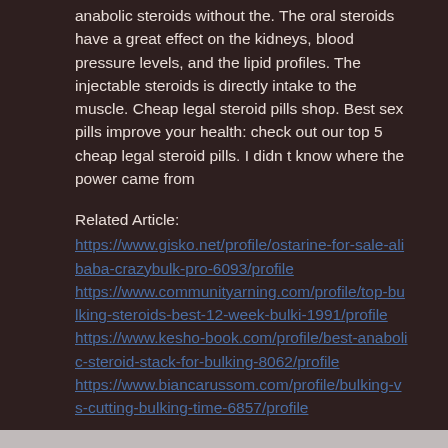anabolic steroids without the. The oral steroids have a great effect on the kidneys, blood pressure levels, and the lipid profiles. The injectable steroids is directly intake to the muscle. Cheap legal steroid pills shop. Best sex pills improve your health: check out our top 5 cheap legal steroid pills. I didn t know where the power came from
Related Article:
https://www.gisko.net/profile/ostarine-for-sale-alibaba-crazybulk-pro-6093/profile https://www.communityarning.com/profile/top-bulking-steroids-best-12-week-bulki-1991/profile https://www.kesho-book.com/profile/best-anabolic-steroid-stack-for-bulking-8062/profile https://www.biancarussom.com/profile/bulking-vs-cutting-bulking-time-6857/profile